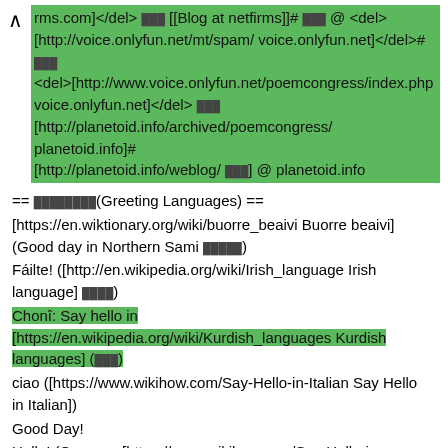rms.com]</del> ███ [[Blog at netfirms]]# ███ @ <del>[http://voice.onlyfun.net/mt/spam/ voice.onlyfun.net]</del># ███ <del>[http://www.voice.onlyfun.net/poemcongress/index.php voice.onlyfun.net]</del> ███ [http://planetoid.info/archived/poemcongress/ planetoid.info]# [http://planetoid.info/weblog/ ███] @ planetoid.info
== ████████(Greeting Languages) ==
[https://en.wiktionary.org/wiki/buorre_beaivi Buorre beaivi] (Good day in Northern Sami █████)
Fáilte! ([http://en.wikipedia.org/wiki/Irish_language Irish language] ████)
Chonî: Say hello in [https://en.wikipedia.org/wiki/Kurdish_languages Kurdish languages] (███)
ciao ([https://www.wikihow.com/Say-Hello-in-Italian Say Hello in Italian])
Good Day!
Hallo! (German. [https://www.wikihow.com/Say-Hello-in-German 4 Ways to Say Hello in German - wikiHow])
Hi